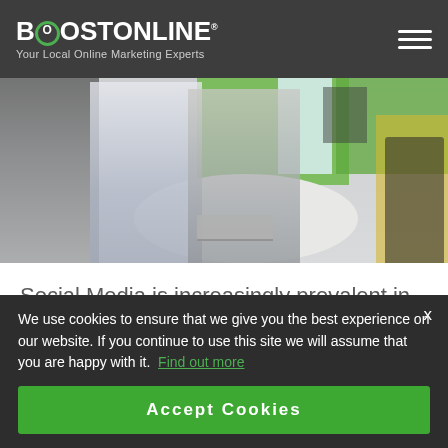BOOST ONLINE Your Local Online Marketing Experts
[Figure (photo): Office scene with two men sitting at a round table looking at a laptop, smiling. Green partition panels visible in background. A woman in yellow sits at a desk in the background right.]
Social Media is increasingly prevalent in business marketing strategies. With a host of popular platforms
We use cookies to ensure that we give you the best experience on our website. If you continue to use this site we will assume that you are happy with it.  Find out more
Accept Cookies